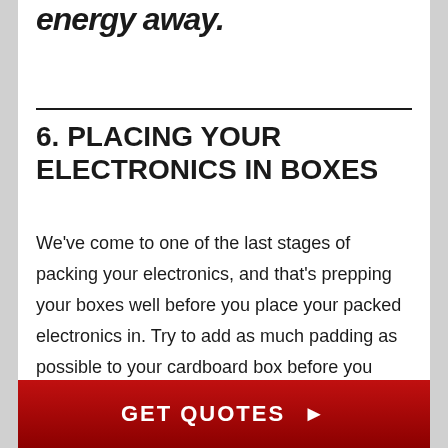energy away.
6. PLACING YOUR ELECTRONICS IN BOXES
We've come to one of the last stages of packing your electronics, and that's prepping your boxes well before you place your packed electronics in. Try to add as much padding as possible to your cardboard box before you place your electronics in. Also called cushioning
GET QUOTES ▶